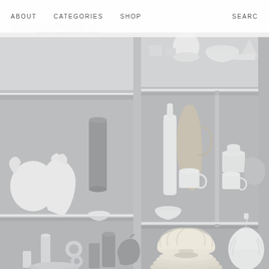[Figure (photo): Shelving unit displaying white and grey ceramic pottery, vases, bowls, dishes, and decorative objects arranged on multiple shelves in a grid-like cabinet structure. Items include bottles, jugs, cups, stacked plates, and sculptural forms in matte white and grey tones.]
ABOUT   CATEGORIES   SHOP   SEARCH